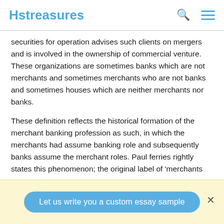Hstreasures
securities for operation advises such clients on mergers and is involved in the ownership of commercial venture. These organizations are sometimes banks which are not merchants and sometimes merchants who are not banks and sometimes houses which are neither merchants nor banks.
These definition reflects the historical formation of the merchant banking profession as such, in which the merchants had assume banking role and subsequently banks assume the merchant roles. Paul ferries rightly states this phenomenon; the original label of 'merchants
Let us write you a custom essay sample